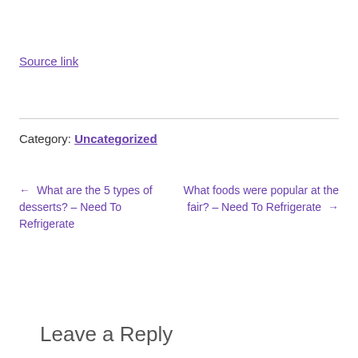Source link
Category: Uncategorized
← What are the 5 types of desserts? – Need To Refrigerate
What foods were popular at the fair? – Need To Refrigerate →
Leave a Reply